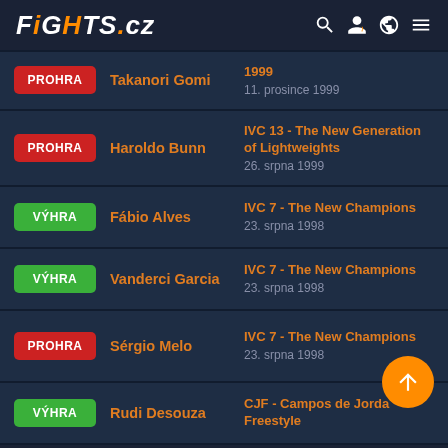FiGHTS.cz
PROHRA | Takanori Gomi | 1999 | 11. prosince 1999
PROHRA | Haroldo Bunn | IVC 13 - The New Generation of Lightweights | 26. srpna 1999
VÝHRA | Fábio Alves | IVC 7 - The New Champions | 23. srpna 1998
VÝHRA | Vanderci Garcia | IVC 7 - The New Champions | 23. srpna 1998
PROHRA | Sérgio Melo | IVC 7 - The New Champions | 23. srpna 1998
VÝHRA | Rudi Desouza | CJF - Campos de Jordao Freestyle